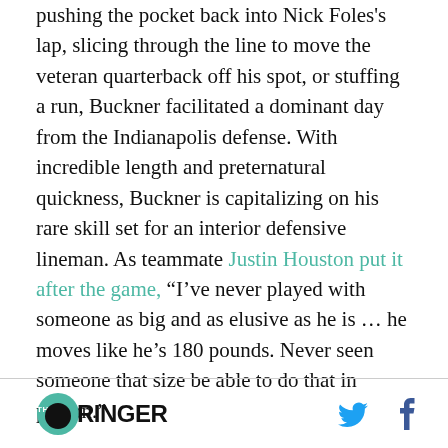pushing the pocket back into Nick Foles's lap, slicing through the line to move the veteran quarterback off his spot, or stuffing a run, Buckner facilitated a dominant day from the Indianapolis defense. With incredible length and preternatural quickness, Buckner is capitalizing on his rare skill set for an interior defensive lineman. As teammate Justin Houston put it after the game, “I’ve never played with someone as big and as elusive as he is … he moves like he’s 180 pounds. Never seen someone that size be able to do that in person.”
The Ringer logo with social icons (Twitter, Facebook)